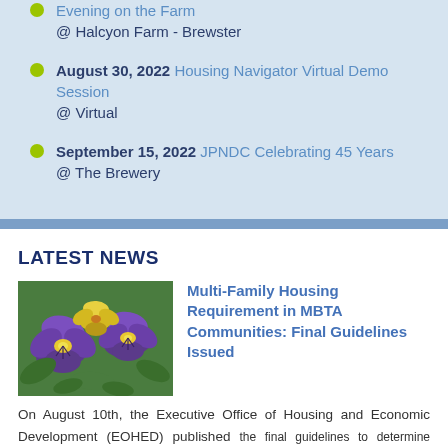Evening on the Farm @ Halcyon Farm - Brewster
August 30, 2022 Housing Navigator Virtual Demo Session @ Virtual
September 15, 2022 JPNDC Celebrating 45 Years @ The Brewery
LATEST NEWS
[Figure (photo): Close-up photo of purple and yellow pansy flowers with green foliage]
Multi-Family Housing Requirement in MBTA Communities: Final Guidelines Issued
On August 10th, the Executive Office of Housing and Economic Development (EOHED) published the final guidelines to determine compliance with section 3A of the Zoning Act—the new requirement for every MBTA community to have at least one zoning